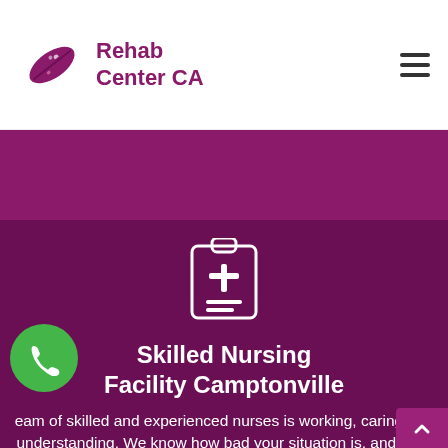[Figure (logo): Rehab Center CA logo with pill/capsule icon in purple]
Rehab Center CA
[Figure (illustration): Medical clipboard with plus sign icon in white on dark purple background]
Skilled Nursing Facility Camptonville
eam of skilled and experienced nurses is working, caring and understanding. We know how bad your situation is, and treat yo